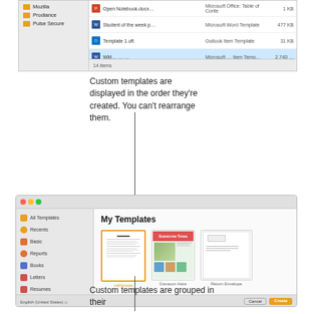[Figure (screenshot): Windows File Explorer showing template files including Mozilla, Prodiance, Pulse Secure folders and files: Student of the week (Microsoft Word Template 477 KB), Template 1.oft (Outlook Item Template 31 KB). Status bar shows 14 items.]
Custom templates are displayed in the order they're created. You can't rearrange them.
[Figure (screenshot): Microsoft Word for Mac template chooser showing My Templates section with three templates: a selected resume template (outlined in orange), a newsletter/school flyer template, and an envelope template. Left sidebar shows: All Templates, Recents, Basic, Reports, Books, Letters, Resumes, Flyers & Posters, Newsletters, Stationery, Certificates, Miscellaneous, My Templates (selected). Bottom bar shows English (United States) and Cancel/Create buttons.]
Custom templates are grouped in their